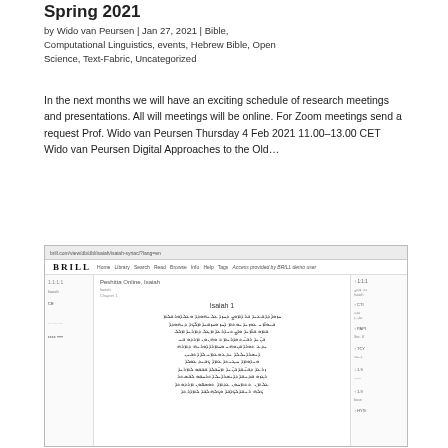Spring 2021
by Wido van Peursen | Jan 27, 2021 | Bible, Computational Linguistics, events, Hebrew Bible, Open Science, Text-Fabric, Uncategorized
In the next months we will have an exciting schedule of research meetings and presentations. All will meetings will be online. For Zoom meetings send a request Prof. Wido van Peursen Thursday 4 Feb 2021 11.00–13.00 CET Wido van Peursen Digital Approaches to the Old…
[Figure (screenshot): Screenshot of a Brill publisher website showing a digital edition of Peshitta Online (Isaiah 1) with Hebrew/Syriac text displayed in a scholarly interface with navigation sidebars]